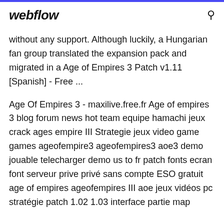webflow
without any support. Although luckily, a Hungarian fan group translated the expansion pack and migrated in a Age of Empires 3 Patch v1.11 [Spanish] - Free ...
Age Of Empires 3 - maxilive.free.fr Age of empires 3 blog forum news hot team equipe hamachi jeux crack ages empire III Strategie jeux video game games ageofempire3 ageofempires3 aoe3 demo jouable telecharger demo us to fr patch fonts ecran font serveur prive privé sans compte ESO gratuit age of empires ageofempires III aoe jeux vidéos pc stratégie patch 1.02 1.03 interface partie map